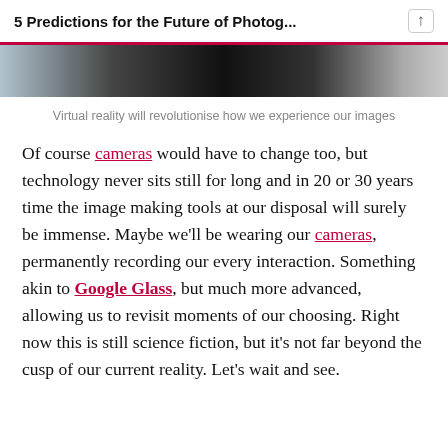5 Predictions for the Future of Photog...
[Figure (photo): Partial view of a dark photograph, likely a camera or photography-related image, cropped at the top of the page.]
Virtual reality will revolutionise how we experience our images
Of course cameras would have to change too, but technology never sits still for long and in 20 or 30 years time the image making tools at our disposal will surely be immense. Maybe we'll be wearing our cameras, permanently recording our every interaction. Something akin to Google Glass, but much more advanced, allowing us to revisit moments of our choosing. Right now this is still science fiction, but it's not far beyond the cusp of our current reality. Let's wait and see.